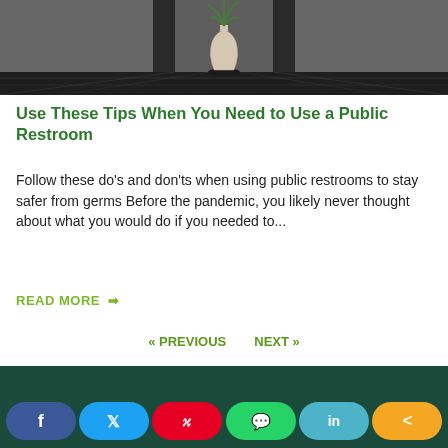[Figure (photo): Dark hallway with wooden floor, doors on sides, and a white vase with plant in the center background]
Use These Tips When You Need to Use a Public Restroom
Follow these do's and don'ts when using public restrooms to stay safer from germs Before the pandemic, you likely never thought about what you would do if you needed to...
READ MORE →
« PREVIOUS   NEXT »